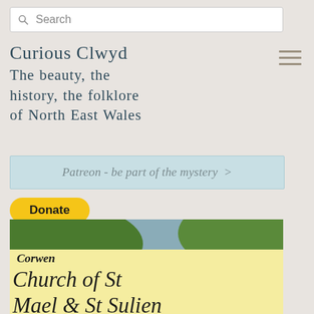Search
Curious Clwyd
The beauty, the history, the folklore of North East Wales
Patreon - be part of the mystery >
Donate
[Figure (photo): Aerial view of Corwen town, showing rows of white houses and buildings amid trees and green hills]
Corwen
Church of St Mael & St Sulien